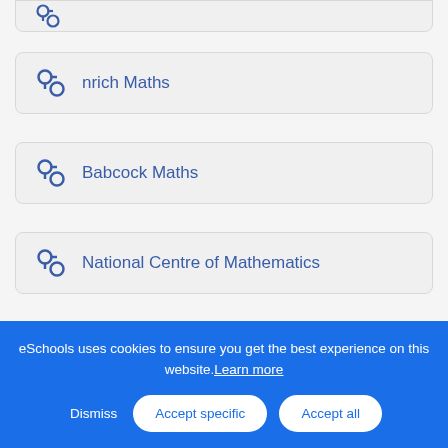nrich Maths
Babcock Maths
National Centre of Mathematics
Mathigon
eSchools uses cookies to ensure you get the best experience on this website. Learn more
Dismiss | Accept specific | Accept all